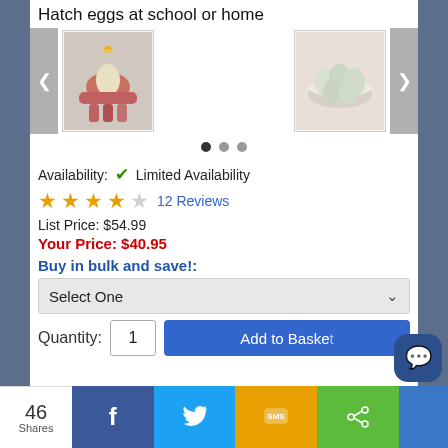Hatch eggs at school or home
[Figure (screenshot): Product image carousel showing two images: children's hands holding eggs, and a bowl of eggs. Navigation arrows on left and right, three pagination dots below.]
Availability: ✓ Limited Availability
★★★★☆ 12 Reviews
List Price: $54.99
Your Price: $40.95
Buy in bulk and save!:
Select One
Quantity: 1  Add to Basket
46 Shares
f  Twitter  SMS  Share